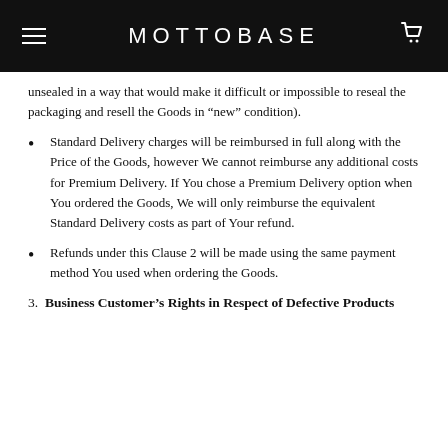MOTTOBASE
unsealed in a way that would make it difficult or impossible to reseal the packaging and resell the Goods in “new” condition).
Standard Delivery charges will be reimbursed in full along with the Price of the Goods, however We cannot reimburse any additional costs for Premium Delivery. If You chose a Premium Delivery option when You ordered the Goods, We will only reimburse the equivalent Standard Delivery costs as part of Your refund.
Refunds under this Clause 2 will be made using the same payment method You used when ordering the Goods.
3. Business Customer’s Rights in Respect of Defective Products